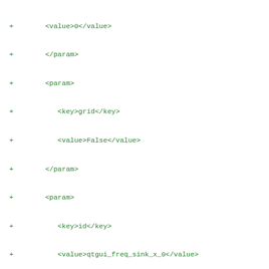+ <value>0</value>
+ </param>
+ <param>
+ <key>grid</key>
+ <value>False</value>
+ </param>
+ <param>
+ <key>id</key>
+ <value>qtgui_freq_sink_x_0</value>
+ </param>
+ <param>
+ <key>legend</key>
+ <value>True</value>
+ </param>
+ <param>
+ <key>alpha1</key>
+ <value>1.0</value>
+ </param>
+ <param>
+ <key>color1</key>
+ <value>"blue"</value>
+ </param>
+ <param>
+ <key>label1</key>
+ <value></value>
+ </param>
+ <param>
+ <key>width1</key>
+ <value>1</value>
+ </param>